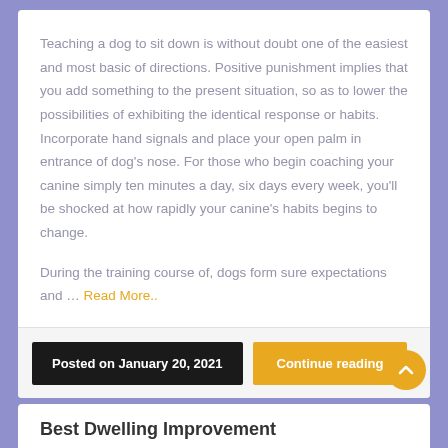Teaching a dog to sit down is without doubt one of the easiest and most basic of directions. Positive punishment implies that you add something to the present situation, so as to lower the possibilities of exhibiting the identical response or habits. Incorporate hand signals and place your open palm in entrance of dog's nose. For those who begin coaching your canine simply ten minutes a day, six days every week, you'll be shocked at how rapidly your canine's habits begins to change.
During the training course of, dogs form sure expectations and … Read More..
Posted on January 20, 2021
Continue reading
Best Dwelling Improvement